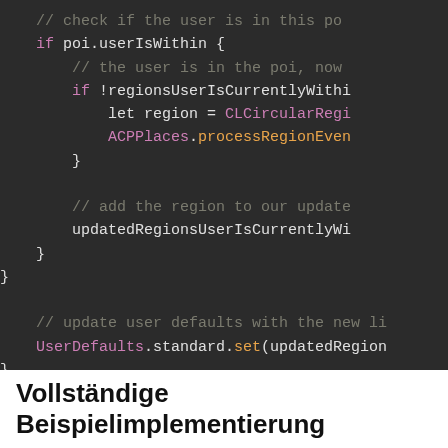[Figure (screenshot): Code screenshot showing Swift code snippet with dark background. Code includes: // check if the user is in this poi, if poi.userIsWithin {, // the user is in the poi, now, if !regionsUserIsCurrentlyWithin..., let region = CLCircularReg..., ACPPlaces.processRegionEven..., }, // add the region to our update, updatedRegionsUserIsCurrentlyWith..., }, }, // update user defaults with the new li, UserDefaults.standard.set(updatedRegion..., }]
Vollständige Beispielimplementierung